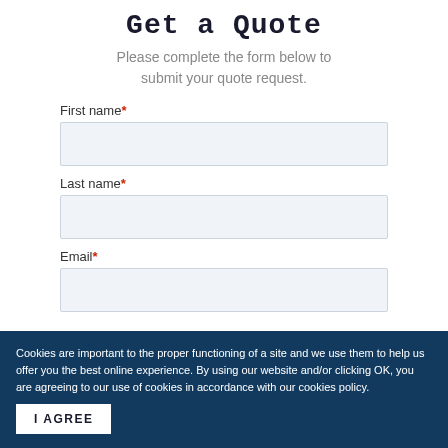Get a Quote
Please complete the form below to submit your quote request.
First name*
Last name*
Email*
Cookies are important to the proper functioning of a site and we use them to help us offer you the best online experience. By using our website and/or clicking OK, you are agreeing to our use of cookies in accordance with our cookies policy.